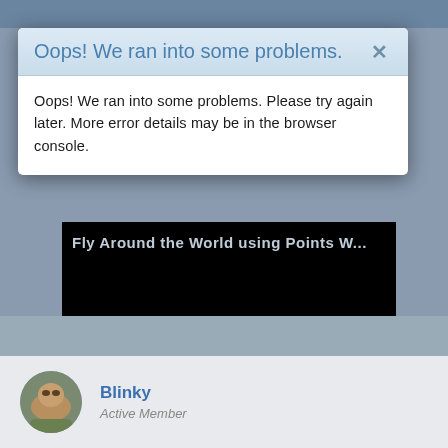Oops! We ran into some problems.
Oops! We ran into some problems. Please try again later. More error details may be in the browser console.
[Figure (screenshot): Embedded video player showing black screen with a play button and title text 'Fly Around the World using Points W...']
Blinky
Active Member